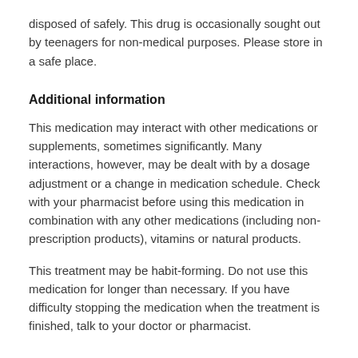disposed of safely. This drug is occasionally sought out by teenagers for non-medical purposes. Please store in a safe place.
Additional information
This medication may interact with other medications or supplements, sometimes significantly. Many interactions, however, may be dealt with by a dosage adjustment or a change in medication schedule. Check with your pharmacist before using this medication in combination with any other medications (including non-prescription products), vitamins or natural products.
This treatment may be habit-forming. Do not use this medication for longer than necessary. If you have difficulty stopping the medication when the treatment is finished, talk to your doctor or pharmacist.